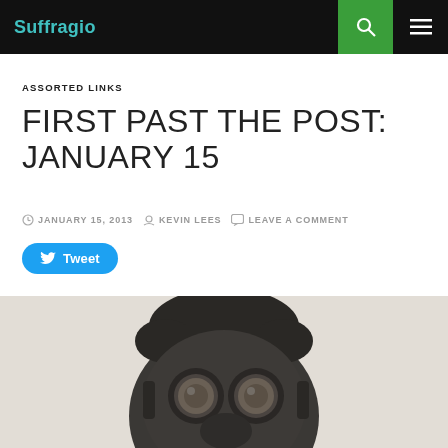Suffragio
ASSORTED LINKS
FIRST PAST THE POST: JANUARY 15
JANUARY 15, 2013  KEVIN LEES  LEAVE A COMMENT
Tweet
[Figure (photo): Close-up photo of a person wearing a gas mask, viewed from the front, with messy dark hair visible above the mask. The background is light/white.]